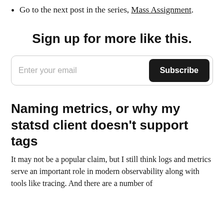Go to the next post in the series, Mass Assignment.
Sign up for more like this.
[Figure (other): Email subscription form with 'Enter your email' input field and 'Subscribe' button]
Naming metrics, or why my statsd client doesn't support tags
It may not be a popular claim, but I still think logs and metrics serve an important role in modern observability along with tools like tracing. And there are a number of